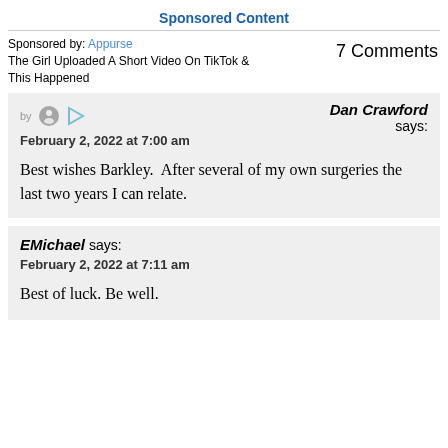Sponsored Content
7 Comments
Sponsored by: Appurse
The Girl Uploaded A Short Video On TikTok & This Happened
Dan Crawford says:
February 2, 2022 at 7:00 am
Best wishes Barkley.  After several of my own surgeries the last two years I can relate.
EMichael says:
February 2, 2022 at 7:11 am
Best of luck. Be well.